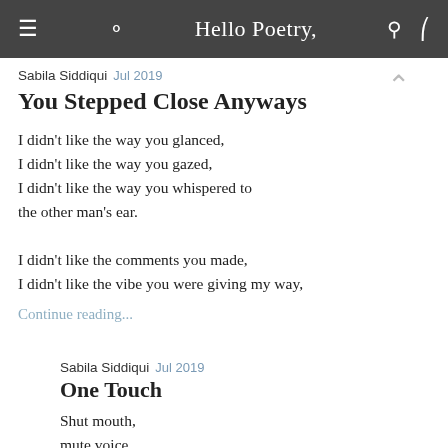Hello Poetry,
Sabila Siddiqui  Jul 2019
You Stepped Close Anyways
I didn't like the way you glanced,
I didn't like the way you gazed,
I didn't like the way you whispered to the other man's ear.

I didn't like the comments you made,
I didn't like the vibe you were giving my way,
Continue reading...
Sabila Siddiqui  Jul 2019
One Touch
Shut mouth,
mute voice,